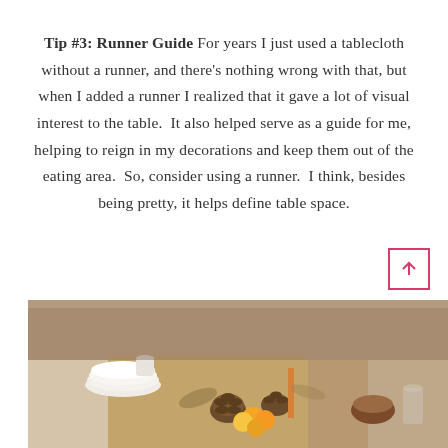Tip #3: Runner Guide For years I just used a tablecloth without a runner, and there's nothing wrong with that, but when I added a runner I realized that it gave a lot of visual interest to the table.  It also helped serve as a guide for me, helping to reign in my decorations and keep them out of the eating area.  So, consider using a runner.  I think, besides being pretty, it helps define table space.
[Figure (photo): A decorated table with pine cones, oranges/lemons, candles, dishes, and a burlap runner — a fall/autumn tablescape.]